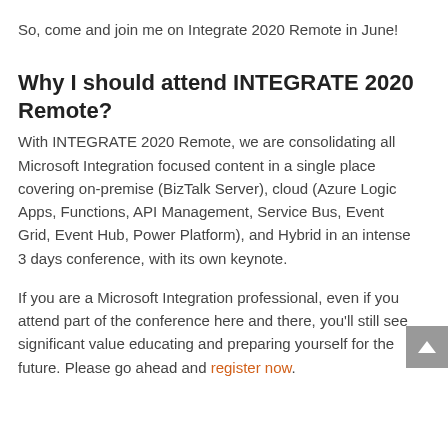So, come and join me on Integrate 2020 Remote in June!
Why I should attend INTEGRATE 2020 Remote?
With INTEGRATE 2020 Remote, we are consolidating all Microsoft Integration focused content in a single place covering on-premise (BizTalk Server), cloud (Azure Logic Apps, Functions, API Management, Service Bus, Event Grid, Event Hub, Power Platform), and Hybrid in an intense 3 days conference, with its own keynote.
If you are a Microsoft Integration professional, even if you attend part of the conference here and there, you'll still see significant value educating and preparing yourself for the future. Please go ahead and register now.